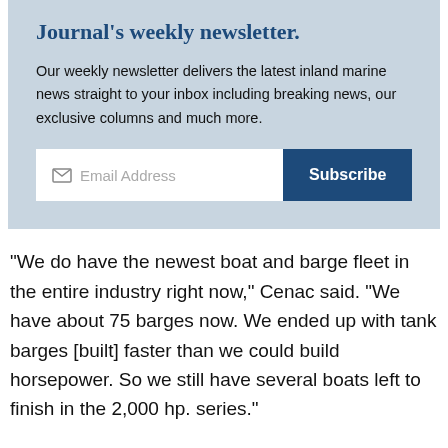Journal's weekly newsletter.
Our weekly newsletter delivers the latest inland marine news straight to your inbox including breaking news, our exclusive columns and much more.
Email Address  Subscribe
“We do have the newest boat and barge fleet in the entire industry right now,” Cenac said. “We have about 75 barges now. We ended up with tank barges [built] faster than we could build horsepower. So we still have several boats left to finish in the 2,000 hp. series.”
In addition to the 75 barges in the company’s